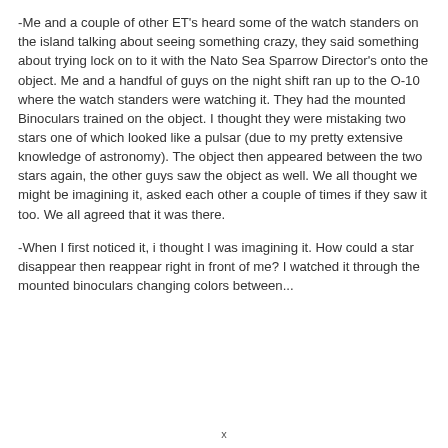-Me and a couple of other ET's heard some of the watch standers on the island talking about seeing something crazy, they said something about trying lock on to it with the Nato Sea Sparrow Director's onto the object. Me and a handful of guys on the night shift ran up to the O-10 where the watch standers were watching it. They had the mounted Binoculars trained on the object. I thought they were mistaking two stars one of which looked like a pulsar (due to my pretty extensive knowledge of astronomy). The object then appeared between the two stars again, the other guys saw the object as well. We all thought we might be imagining it, asked each other a couple of times if they saw it too. We all agreed that it was there.
-When I first noticed it, i thought I was imagining it. How could a star disappear then reappear right in front of me? I watched it through the mounted binoculars changing colors between...
x